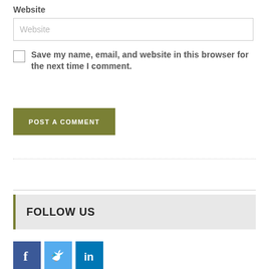Website
Website
Save my name, email, and website in this browser for the next time I comment.
POST A COMMENT
FOLLOW US
[Figure (illustration): Social media icons: Facebook (blue), Twitter (light blue), LinkedIn (dark blue)]